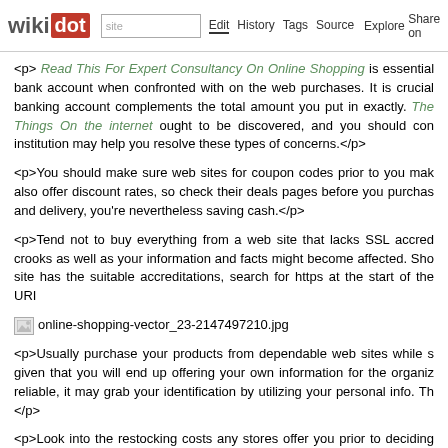wikidot | site | Edit | History | Tags | Source | Explore | Share on Twitter
<p> Read This For Expert Consultancy On Online Shopping is essential bank account when confronted with on the web purchases. It is crucial banking account complements the total amount you put in exactly. The Things On the internet ought to be discovered, and you should con institution may help you resolve these types of concerns.</p>
<p>You should make sure web sites for coupon codes prior to you mak also offer discount rates, so check their deals pages before you purchas and delivery, you're nevertheless saving cash.</p>
<p>Tend not to buy everything from a web site that lacks SSL accred crooks as well as your information and facts might become affected. Sho site has the suitable accreditations, search for https at the start of the URI
[Figure (other): Image placeholder showing filename: online-shopping-vector_23-2147497210.jpg]
<p>Usually purchase your products from dependable web sites while s given that you will end up offering your own information for the organiz reliable, it may grab your identification by utilizing your personal info. Th </p>
<p>Look into the restocking costs any stores offer you prior to deciding set an item back in a stockroom, most web sites now cost for takin malfunctioning. Some sites cost silly portions, so be informed that you n purchasing.</p>
<p>Purchasing is fun for everyone, as well as the Internet will make it a That's why you will need to be aware of the nuances of how shopping on